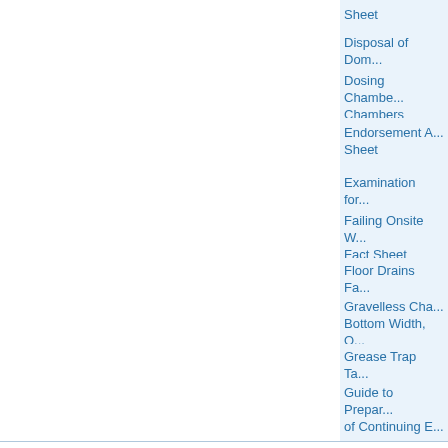Sheet
Disposal of Dom...
Dosing Chambe... Chambers
Endorsement A... Sheet
Examination for...
Failing Onsite W... Fact Sheet
Floor Drains Fa...
Gravelless Cha... Bottom Width, O...
Grease Trap Ta...
Guide to Prepar... of Continuing E...
Hardship Certifi...
Lagoon Site Lo...
Lagoon Sizing a...
Land Applicatio...
Maintenance of... Sheet